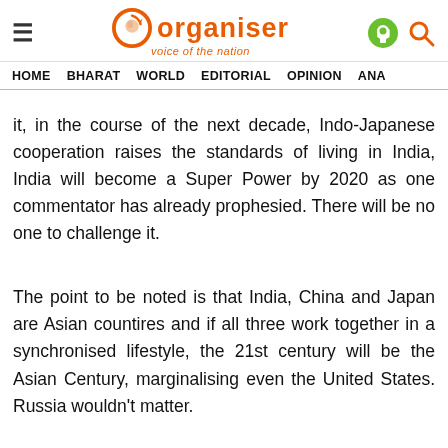Organiser — voice of the nation
HOME   BHARAT   WORLD   EDITORIAL   OPINION   ANA
it, in the course of the next decade, Indo-Japanese cooperation raises the standards of living in India, India will become a Super Power by 2020 as one commentator has already prophesied. There will be no one to challenge it.
The point to be noted is that India, China and Japan are Asian countires and if all three work together in a synchronised lifestyle, the 21st century will be the Asian Century, marginalising even the United States. Russia wouldn't matter.
India will plainly be unrecognisable with progress in all forms of human activity whether it is in Arts, Theatre, Music, Dance, Drama, Literature and Technology. Already it is achieving Some HT